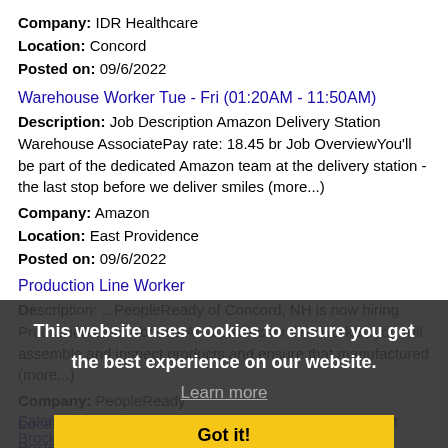Company: IDR Healthcare
Location: Concord
Posted on: 09/6/2022
Warehouse Worker Tue - Fri (01:20AM - 11:50AM)
Description: Job Description Amazon Delivery Station Warehouse AssociatePay rate: 18.45 br Job OverviewYou'll be part of the dedicated Amazon team at the delivery station - the last stop before we deliver smiles (more...)
Company: Amazon
Location: East Providence
Posted on: 09/6/2022
Production Line Worker
Description: ...PeopleReady of Concord, NH is now hiring Production Line Workers As a production line worker, you will assemble and inspect products and ensure that manufactured (more...)
Company: PeopleReady
Location: Concord
Posted on: 09/6/2022
This website uses cookies to ensure you get the best experience on our website. Learn more Got it!
Salary in Brockton, Massachusetts Area | More details for Brockton, Massachusetts Jobs |Salary